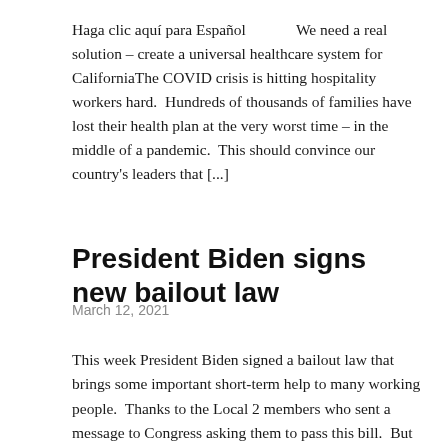Haga clic aquí para Español   We need a real solution – create a universal healthcare system for CaliforniaThe COVID crisis is hitting hospitality workers hard.  Hundreds of thousands of families have lost their health plan at the very worst time – in the middle of a pandemic.  This should convince our country's leaders that [...]
President Biden signs new bailout law
March 12, 2021
This week President Biden signed a bailout law that brings some important short-term help to many working people.  Thanks to the Local 2 members who sent a message to Congress asking them to pass this bill.  But we have much more work to do to fix our